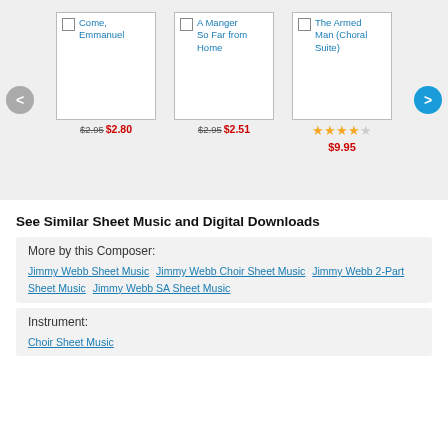[Figure (screenshot): Carousel of sheet music products: Come Emmanuel ($2.95 strikethrough, $2.80 red), A Manger So Far from Home ($2.95 strikethrough, $2.51 red), The Armed Man Choral Suite (4 stars, $9.95). Navigation arrows left (grey) and right (blue).]
See Similar Sheet Music and Digital Downloads
More by this Composer:
Jimmy Webb Sheet Music  Jimmy Webb Choir Sheet Music  Jimmy Webb 2-Part Sheet Music  Jimmy Webb SA Sheet Music
Instrument:
Choir Sheet Music